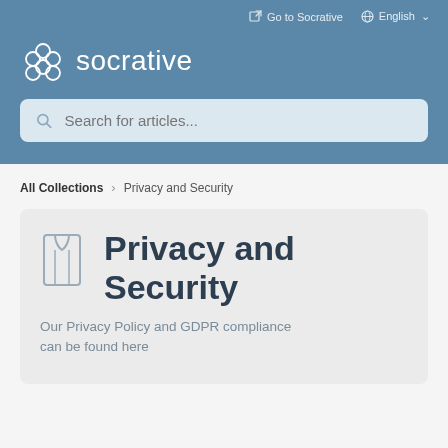Go to Socrative   English
[Figure (logo): Socrative logo with hexagonal honeycomb icon and white text 'socrative']
[Figure (screenshot): Search bar with placeholder text 'Search for articles...']
All Collections > Privacy and Security
Privacy and Security
Our Privacy Policy and GDPR compliance can be found here